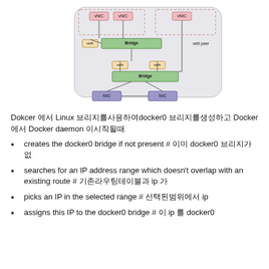[Figure (network-graph): Network diagram showing Docker/container networking with vNIC nodes connected to Bridge components via veth interfaces, and NIC nodes at the bottom. Dashed borders indicate container boundaries. Two Bridge layers are shown with veth peer connections.]
Dokcer 에서 Linux 브리지를사용하여docker0 브리지를생성하고 Docker 에서 Docker daemon 이시작될때
creates the docker0 bridge if not present # 이미 docker0 브리지가 없
searches for an IP address range which doesn't overlap with an existing route # 기존라우팅테이블과 ip 가
picks an IP in the selected range # 선택된범위에서 ip
assigns this IP to the docker0 bridge # 이 ip 를 docker0